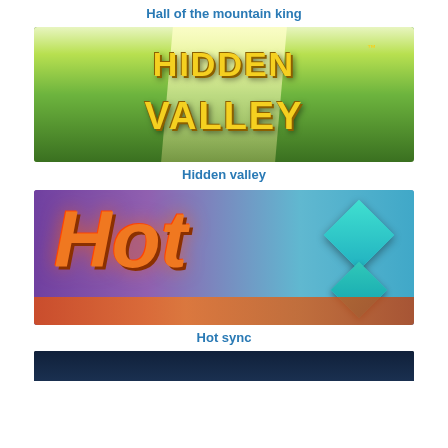Hall of the mountain king
[Figure (photo): Game banner image for Hidden Valley slot game - forest/jungle themed with golden 3D text reading HIDDEN VALLEY on a green leafy background with waterfall]
Hidden valley
[Figure (photo): Game banner image for Hot Sync slot game - shows large stylized 'Hot' text in red/orange gradient with gem/crystal symbols on purple/teal background]
Hot sync
[Figure (photo): Partial game banner image at the bottom of the page, partially cropped]